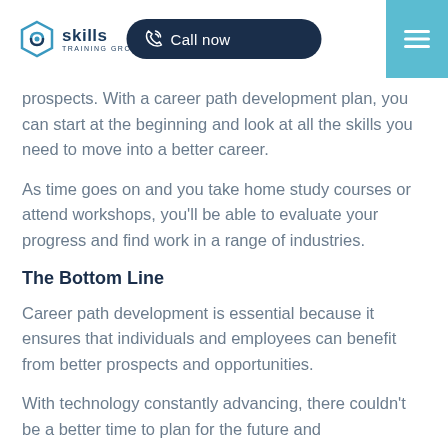Skills Training Group — Call now — Navigation menu
prospects. With a career path development plan, you can start at the beginning and look at all the skills you need to move into a better career.
As time goes on and you take home study courses or attend workshops, you'll be able to evaluate your progress and find work in a range of industries.
The Bottom Line
Career path development is essential because it ensures that individuals and employees can benefit from better prospects and opportunities.
With technology constantly advancing, there couldn't be a better time to plan for the future and